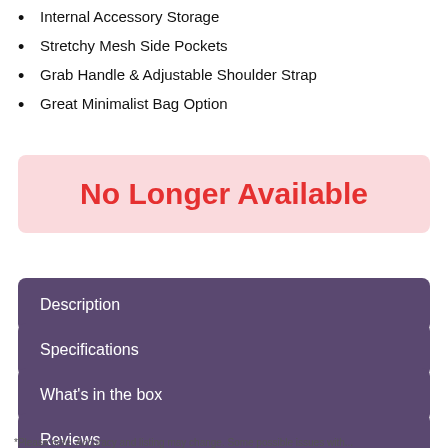Internal Accessory Storage
Stretchy Mesh Side Pockets
Grab Handle & Adjustable Shoulder Strap
Great Minimalist Bag Option
No Longer Available
Description
Specifications
What's in the box
Reviews
*Please note: Accuracy and listing may change. Some possible issues with...